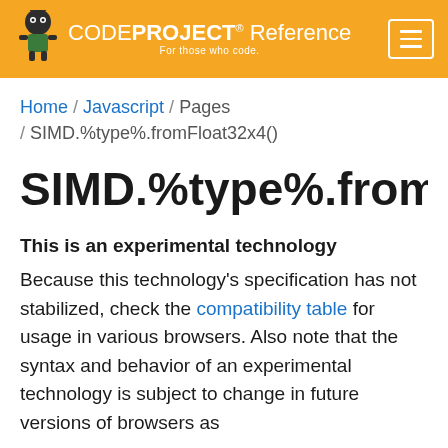CODEPROJECT Reference — For those who code
Home / Javascript / Pages / SIMD.%type%.fromFloat32x4()
SIMD.%type%.fromFloat
This is an experimental technology
Because this technology's specification has not stabilized, check the compatibility table for usage in various browsers. Also note that the syntax and behavior of an experimental technology is subject to change in future versions of browsers as